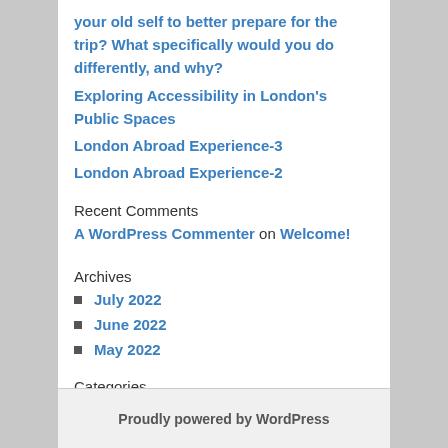your old self to better prepare for the trip? What specifically would you do differently, and why?
Exploring Accessibility in London's Public Spaces
London Abroad Experience-3
London Abroad Experience-2
Recent Comments
A WordPress Commenter on Welcome!
Archives
July 2022
June 2022
May 2022
Categories
Uncategorized
Proudly powered by WordPress